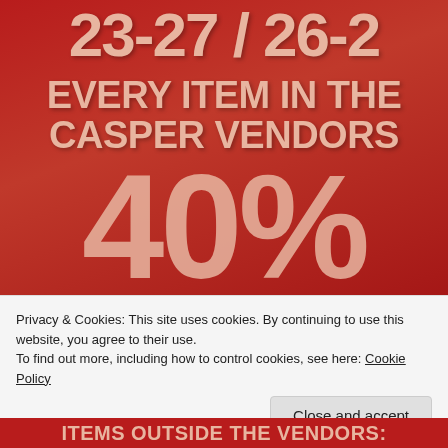23-27 / 26-2
EVERY ITEM IN THE CASPER VENDORS
40%
Privacy & Cookies: This site uses cookies. By continuing to use this website, you agree to their use. To find out more, including how to control cookies, see here: Cookie Policy
Close and accept
ITEMS OUTSIDE THE VENDORS: